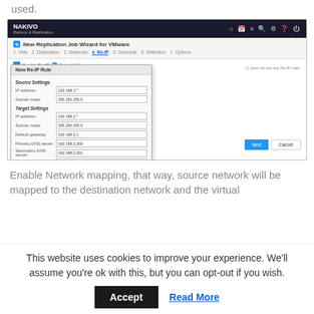used.
[Figure (screenshot): NAKIVO Backup & Replication interface showing New Replication Job Wizard for VMware, step 4 Re-IP. A modal dialog 'New Re-IP Rule' is open showing Source Settings (IP address: 192.168.1.*, Subnet mask: 255.255.255.0) and Target Settings (IP address: 192.168.2.*, Subnet mask: 255.255.255.0, Default gateway: 192.168.2.1, Primary DNS server: 192.168.2.200, Secondary DNS server: 192.168.2.201, DNS suffix: example.com). Buttons: Next and Cancel visible in the background; Save and Cancel in the modal.]
Enable Network mapping, that way, source network will be mapped to the destination network and the virtual
This website uses cookies to improve your experience. We'll assume you're ok with this, but you can opt-out if you wish.
Accept
Read More